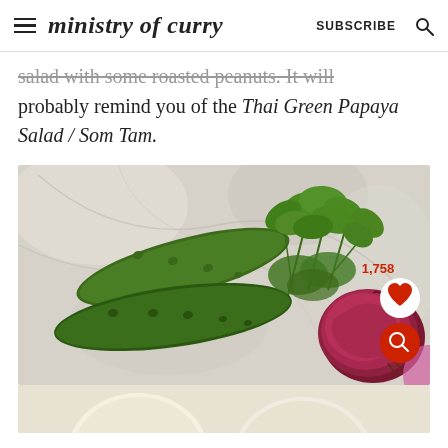ministry of curry  SUBSCRIBE
salad with some roasted peanuts. It will probably remind you of the Thai Green Papaya Salad / Som Tam.
[Figure (photo): Overhead photo of fresh vegetables on marble surface: two cucumbers, a bunch of cilantro/herbs, and a red onion. Social buttons overlay shows 1,758 likes with a heart icon, and a red search button.]
[Figure (photo): Partial bottom view of rounded light-colored produce items (likely eggs or onions) on a light background.]